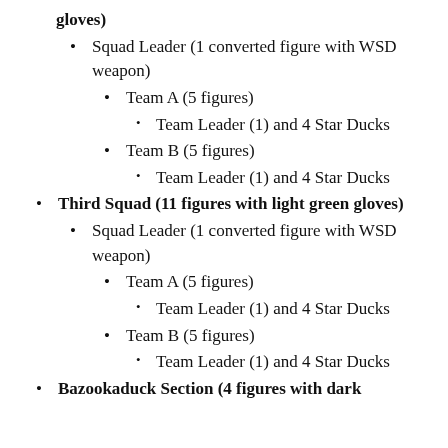gloves)
Squad Leader (1 converted figure with WSD weapon)
Team A (5 figures)
Team Leader (1) and 4 Star Ducks
Team B (5 figures)
Team Leader (1) and 4 Star Ducks
Third Squad (11 figures with light green gloves)
Squad Leader (1 converted figure with WSD weapon)
Team A (5 figures)
Team Leader (1) and 4 Star Ducks
Team B (5 figures)
Team Leader (1) and 4 Star Ducks
Bazookaduck Section (4 figures with dark